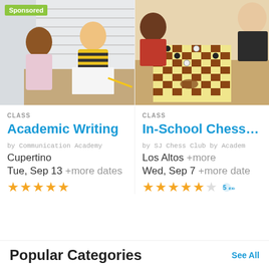[Figure (photo): Two children sitting at a table in a classroom, one girl in pink hoodie and one boy in yellow striped shirt; 'Sponsored' badge in top left corner]
[Figure (photo): Children playing chess at a table in a school setting; close-up of chess board with pieces]
CLASS
Academic Writing
by Communication Academy
Cupertino
Tue, Sep 13 +more dates
★★★★½
CLASS
In-School Chess Club
by SJ Chess Club by Academ
Los Altos +more
Wed, Sep 7 +more date
★★★★½ excl
Popular Categories
See All